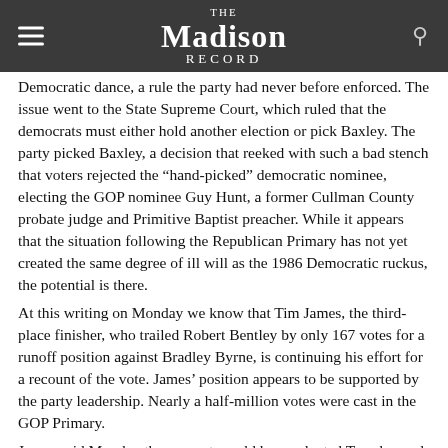The Madison Record
Democratic dance, a rule the party had never before enforced. The issue went to the State Supreme Court, which ruled that the democrats must either hold another election or pick Baxley. The party picked Baxley, a decision that reeked with such a bad stench that voters rejected the “hand-picked” democratic nominee, electing the GOP nominee Guy Hunt, a former Cullman County probate judge and Primitive Baptist preacher. While it appears that the situation following the Republican Primary has not yet created the same degree of ill will as the 1986 Democratic ruckus, the potential is there.
At this writing on Monday we know that Tim James, the third-place finisher, who trailed Robert Bentley by only 167 votes for a runoff position against Bradley Byrne, is continuing his effort for a recount of the vote. James’ position appears to be supported by the party leadership. Nearly a half-million votes were cast in the GOP Primary.
James said Monday the recount would be conducted Tuesday and that he had the cooperation of both Alabama Secretary of State Beth Chapman and state Republican Party Chairman Mike Hubbard.
This all comes after Atty. Gen. Troy King’s opinion that a contest